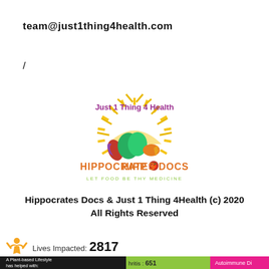team@just1thing4health.com
/
[Figure (logo): Just 1 Thing 4 Health / Hippocrates Docs logo with sun rays, vegetables, and tagline 'Let Food Be Thy Medicine']
Hippocrates Docs & Just 1 Thing 4Health (c) 2020 All Rights Reserved
Lives Impacted: 2817
A Plant-based Lifestyle has helped with:
hritis : 651
Autoimmune Di